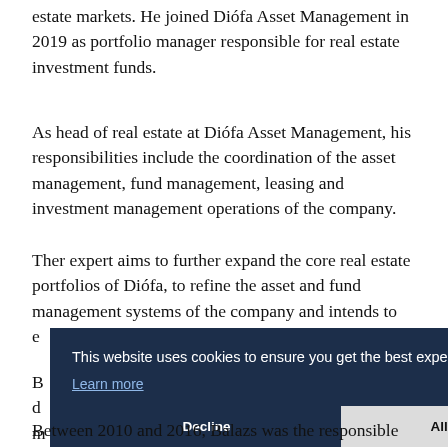estate markets. He joined Diófa Asset Management in 2019 as portfolio manager responsible for real estate investment funds.
As head of real estate at Diófa Asset Management, his responsibilities include the coordination of the asset management, fund management, leasing and investment management operations of the company.
Ther expert aims to further expand the core real estate portfolios of Diófa, to refine the asset and fund management systems of the company and intends to establish credible, listed, structured real estate and real estate investment fund products at the international level.
[Figure (screenshot): Cookie consent banner overlay with dark navy background. Text reads: 'This website uses cookies to ensure you get the best experience on our website.' with a 'Learn more' link. Buttons: 'Decline' (dark) and 'Allow cookies' (light gray).]
Between 2010 and 2016, Balazs was the responsible portfolio manager for the CEE real estate portfolio...